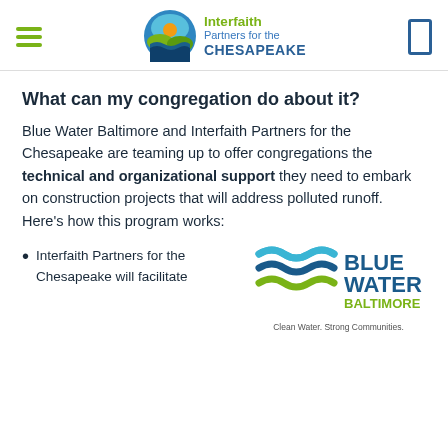Interfaith Partners for the CHESAPEAKE
What can my congregation do about it?
Blue Water Baltimore and Interfaith Partners for the Chesapeake are teaming up to offer congregations the technical and organizational support they need to embark on construction projects that will address polluted runoff. Here's how this program works:
Interfaith Partners for the Chesapeake will facilitate
[Figure (logo): Blue Water Baltimore logo with wave graphic and text 'BLUE WATER BALTIMORE', tagline 'Clean Water. Strong Communities.']